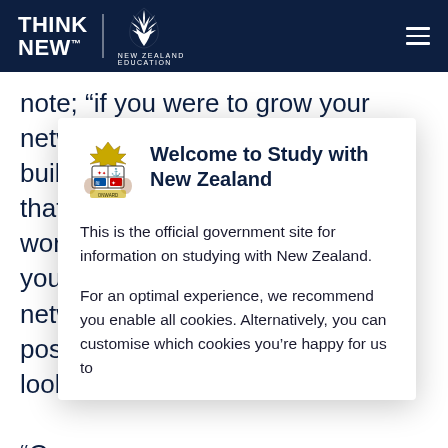THINK NEW | NEW ZEALAND EDUCATION
note; “if you were to grow your network thro… buil… ce that… s wor… d if you… ing netw… l as poss… look… “Co… you… t help you if they don’t know what you
[Figure (screenshot): Modal dialog with New Zealand coat of arms, titled 'Welcome to Study with New Zealand'. Contains text: 'This is the official government site for information on studying with New Zealand.' and 'For an optimal experience, we recommend you enable all cookies. Alternatively, you can customise which cookies you’re happy for us to']